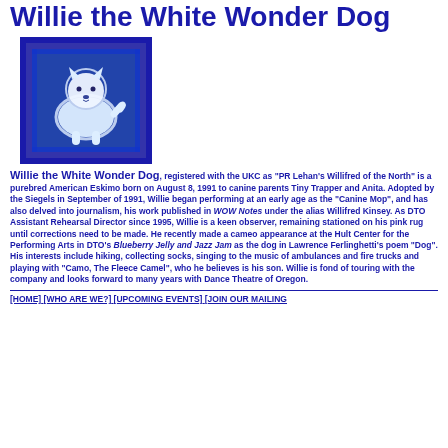Willie the White Wonder Dog
[Figure (photo): A white fluffy American Eskimo dog standing, framed with a blue decorative border with bone patterns.]
Willie the White Wonder Dog, registered with the UKC as "PR Lehan's Willifred of the North" is a purebred American Eskimo born on August 8, 1991 to canine parents Tiny Trapper and Anita. Adopted by the Siegels in September of 1991, Willie began performing at an early age as the "Canine Mop", and has also delved into journalism, his work published in WOW Notes under the alias Willifred Kinsey. As DTO Assistant Rehearsal Director since 1995, Willie is a keen observer, remaining stationed on his pink rug until corrections need to be made. He recently made a cameo appearance at the Hult Center for the Performing Arts in DTO's Blueberry Jelly and Jazz Jam as the dog in Lawrence Ferlinghetti's poem "Dog". His interests include hiking, collecting socks, singing to the music of ambulances and fire trucks and playing with "Camo, The Fleece Camel", who he believes is his son. Willie is fond of touring with the company and looks forward to many years with Dance Theatre of Oregon.
[HOME] [WHO ARE WE?] [UPCOMING EVENTS] [JOIN OUR MAILING